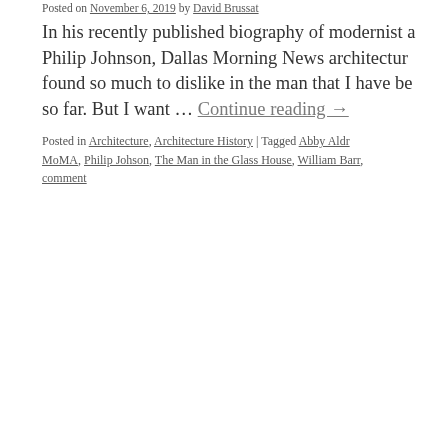Posted on November 6, 2019 by David Brussat
In his recently published biography of modernist a Philip Johnson, Dallas Morning News architectur found so much to dislike in the man that I have be so far. But I want ... Continue reading →
Posted in Architecture, Architecture History | Tagged Abby Aldr MoMA, Philip Johson, The Man in the Glass House, William Barr, comment